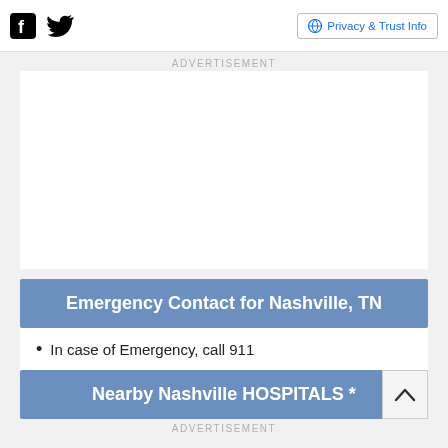Facebook icon | Twitter icon | Privacy & Trust Info
ADVERTISEMENT
Emergency Contact for Nashville, TN
In case of Emergency, call 911
Nearby Nashville HOSPITALS *
ADVERTISEMENT